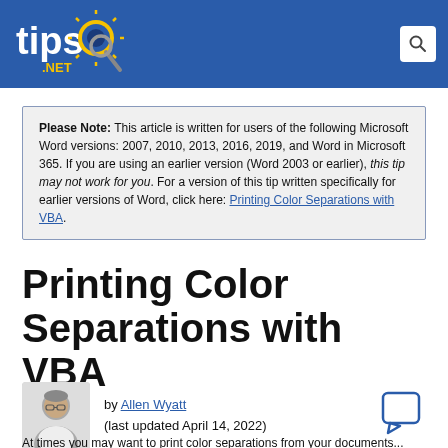tips.NET
Please Note: This article is written for users of the following Microsoft Word versions: 2007, 2010, 2013, 2016, 2019, and Word in Microsoft 365. If you are using an earlier version (Word 2003 or earlier), this tip may not work for you. For a version of this tip written specifically for earlier versions of Word, click here: Printing Color Separations with VBA.
Printing Color Separations with VBA
by Allen Wyatt
(last updated April 14, 2022)